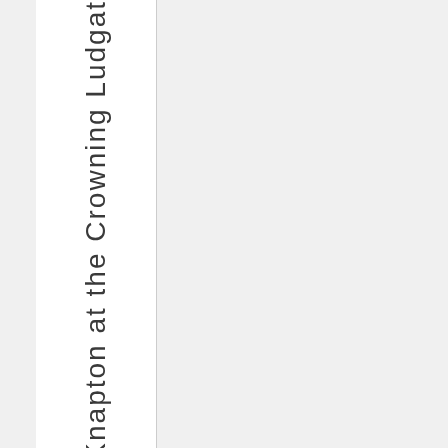Paul Knapton at the Crowning Ludgat